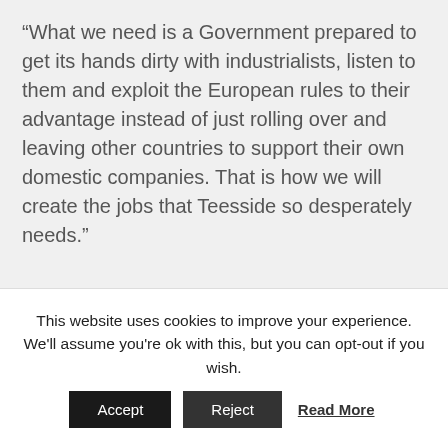“What we need is a Government prepared to get its hands dirty with industrialists, listen to them and exploit the European rules to their advantage instead of just rolling over and leaving other countries to support their own domestic companies. That is how we will create the jobs that Teesside so desperately needs.”
← Previous Post
Alex tells young people to get up and go
This website uses cookies to improve your experience. We'll assume you're ok with this, but you can opt-out if you wish.